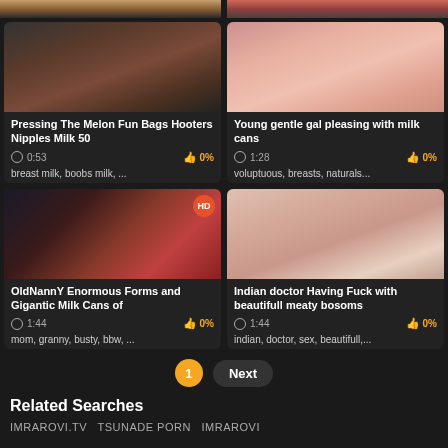[Figure (screenshot): Video thumbnail strip at top of page showing two cropped thumbnails side by side]
Pressing The Melon Fun Bags Hooters Nipples Milk 50
0:53   0%
breast milk, boobs milk, ...
Young gentle gal pleasing with milk cans
1:28   0%
voluptuous, breasts, naturals...
[Figure (screenshot): HD badge video thumbnail of woman in red lingerie lying down]
OldNannY Enormous Forms and Gigantic Milk Cans of
1:44   0%
mom, granny, busty, bbw, ...
[Figure (screenshot): Video thumbnail of blonde woman]
Indian doctor Having Fuck with beautifull meaty bosoms
1:44   0%
indian, doctor, sex, beautifull,...
1   Next
Related Searches
IMRAROVI.TV   TSUNADE PORN   IMRAROVI